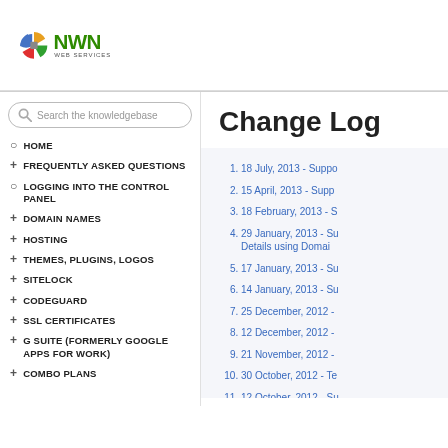[Figure (logo): NWN Web Services logo with colorful circular icon and green NWN text]
Change Log
Search the knowledgebase (search box)
HOME
FREQUENTLY ASKED QUESTIONS
LOGGING INTO THE CONTROL PANEL
DOMAIN NAMES
HOSTING
THEMES, PLUGINS, LOGOS
SITELOCK
CODEGUARD
SSL CERTIFICATES
G SUITE (FORMERLY GOOGLE APPS FOR WORK)
COMBO PLANS
1. 18 July, 2013 - Suppo...
2. 15 April, 2013 - Supp...
3. 18 February, 2013 - S...
4. 29 January, 2013 - Su... Details using Domai...
5. 17 January, 2013 - Su...
6. 14 January, 2013 - Su...
7. 25 December, 2012 -...
8. 12 December, 2012 -...
9. 21 November, 2012 -...
10. 30 October, 2012 - Te...
11. 12 October, 2012 - Su...